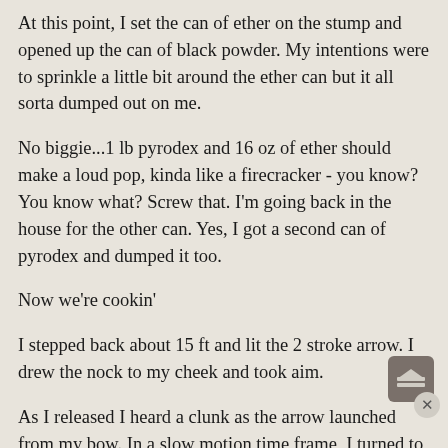At this point, I set the can of ether on the stump and opened up the can of black powder. My intentions were to sprinkle a little bit around the ether can but it all sorta dumped out on me.
No biggie...1 lb pyrodex and 16 oz of ether should make a loud pop, kinda like a firecracker - you know? You know what? Screw that. I'm going back in the house for the other can. Yes, I got a second can of pyrodex and dumped it too.
Now we're cookin'
I stepped back about 15 ft and lit the 2 stroke arrow. I drew the nock to my cheek and took aim.
As I released I heard a clunk as the arrow launched from my bow. In a slow motion time frame, I turned to see my dad getting out of the truck...
OH ****! He just got home from work.